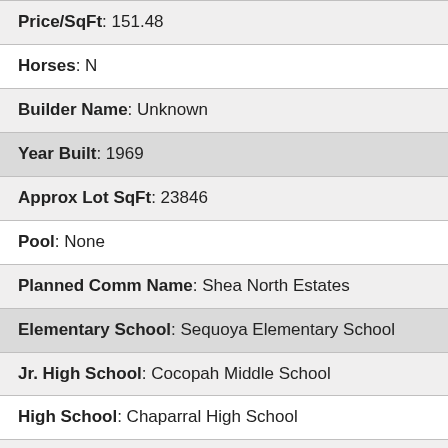| Price/SqFt: 151.48 |
| Horses: N |
| Builder Name: Unknown |
| Year Built: 1969 |
| Approx Lot SqFt: 23846 |
| Pool: None |
| Planned Comm Name: Shea North Estates |
| Elementary School: Sequoya Elementary School |
| Jr. High School: Cocopah Middle School |
| High School: Chaparral High School |
| Elem School Dist #: 069 - Paradise Valley Unified District |
| High School Dist #: ... |